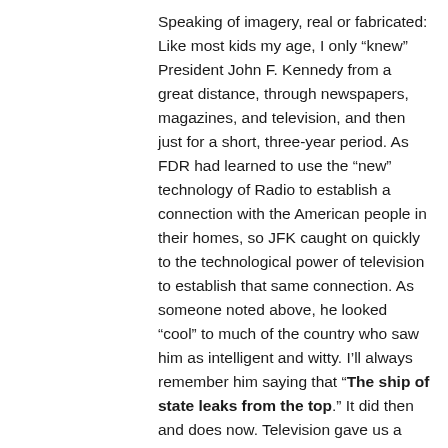Speaking of imagery, real or fabricated: Like most kids my age, I only “knew” President John F. Kennedy from a great distance, through newspapers, magazines, and television, and then just for a short, three-year period. As FDR had learned to use the “new” technology of Radio to establish a connection with the American people in their homes, so JFK caught on quickly to the technological power of television to establish that same connection. As someone noted above, he looked “cool” to much of the country who saw him as intelligent and witty. I’ll always remember him saying that “The ship of state leaks from the top.” It did then and does now. Television gave us a glimpse of his self-deprecating nature when he attempted, on May 8, 1961, to present a medal of commendation to astronaut Alan B. Shepard for his fifteen minute flight up into space. President